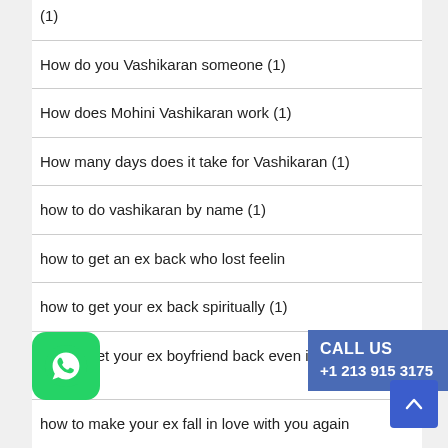(1)
How do you Vashikaran someone (1)
How does Mohini Vashikaran work (1)
How many days does it take for Vashikaran (1)
how to do vashikaran by name (1)
how to get an ex back who lost feelin…
how to get your ex back spiritually (1)
how to get your ex boyfriend back even if it seems impossible (1)
how to make your ex fall in love with you again